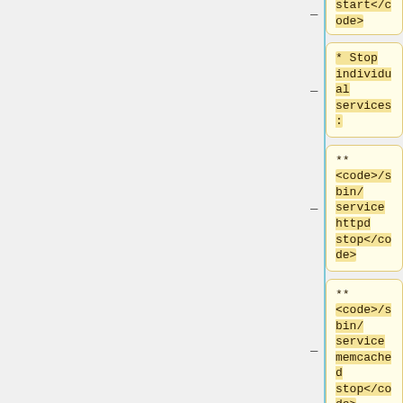start</code>
* Stop individual services:
** <code>/sbin/service httpd stop</code>
** <code>/sbin/service memcached stop</code>
** <code>/sbin/service tomcat6 stop</code>